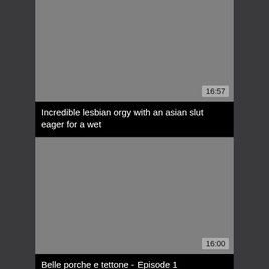[Figure (screenshot): Video thumbnail placeholder - grey rectangle with duration '16:57' in bottom right]
Incredible lesbian orgy with an asian slut eager for a wet
[Figure (screenshot): Video thumbnail placeholder - grey rectangle with duration '16:00' in bottom right]
Belle porche e tettone - Episode 1